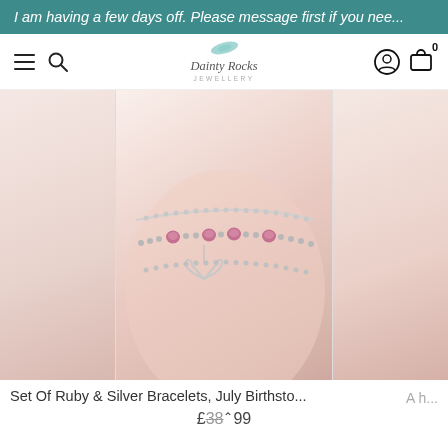I am having a few days off. Please message first if you nee...
[Figure (logo): Dainty Rocks Jewellery logo with watercolor teal feather/leaf mark above italic script text]
[Figure (photo): Close-up photo of a wrist wearing layered silver bracelets with pink/ruby gemstone beads and a heart charm]
Set Of Ruby & Silver Bracelets, July Birthsto...
£38.99
A h...